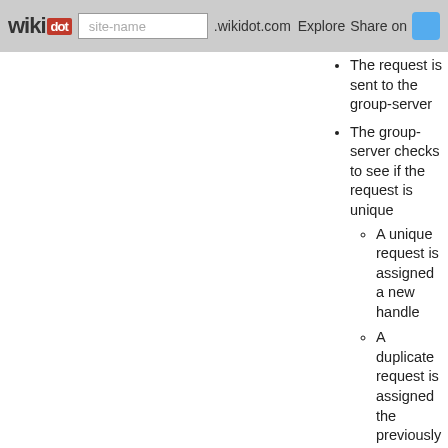wikidot | site-name .wikidot.com | Explore | Share on [Twitter]
The request is sent to the group-server
The group-server checks to see if the request is unique
A unique request is assigned a new handle
A duplicate request is assigned the previously assigned handle
The handle is passed back to the requestor
The requesting root broadcasts the handle to all memebers of the group
The process